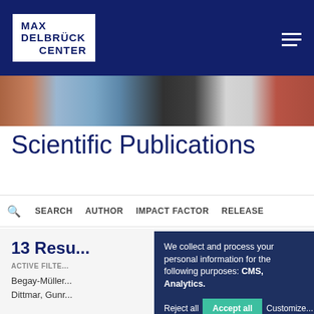[Figure (logo): Max Delbrück Center logo — white box with dark blue text on dark blue header bar]
[Figure (photo): Laboratory/library scene photo strip showing shelves and a person carrying blue folders]
Scientific Publications
SEARCH   AUTHOR   IMPACT FACTOR   RELEASE
13 Resu...
ACTIVE FILTE...
Begay-Müller...
Dittmar, Gunr...
We collect and process your personal information for the following purposes: CMS, Analytics.
Reject all   Accept all   Customize...